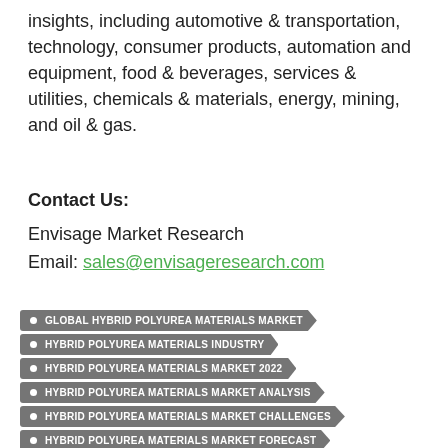insights, including automotive & transportation, technology, consumer products, automation and equipment, food & beverages, services & utilities, chemicals & materials, energy, mining, and oil & gas.
Contact Us:
Envisage Market Research
Email: sales@envisageresearch.com
GLOBAL HYBRID POLYUREA MATERIALS MARKET
HYBRID POLYUREA MATERIALS INDUSTRY
HYBRID POLYUREA MATERIALS MARKET 2022
HYBRID POLYUREA MATERIALS MARKET ANALYSIS
HYBRID POLYUREA MATERIALS MARKET CHALLENGES
HYBRID POLYUREA MATERIALS MARKET FORECAST
HYBRID POLYUREA MATERIALS MARKET GROWTH
HYBRID POLYUREA MATERIALS MARKET INSIGHT
HYBRID POLYUREA MATERIALS MARKET SHARE